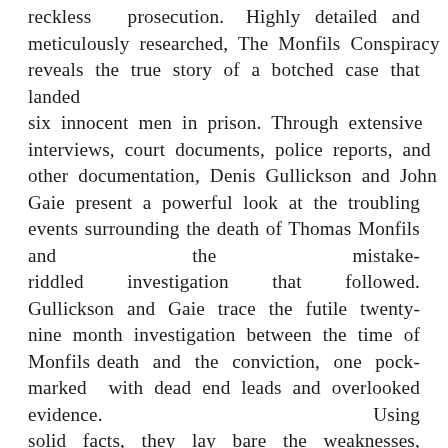reckless prosecution. Highly detailed and meticulously researched, The Monfils Conspiracy reveals the true story of a botched case that landed six innocent men in prison. Through extensive interviews, court documents, police reports, and other documentation, Denis Gullickson and John Gaie present a powerful look at the troubling events surrounding the death of Thomas Monfils and the mistake-riddled investigation that followed. Gullickson and Gaie trace the futile twenty-nine month investigation between the time of Monfils death and the conviction, one pock-marked with dead end leads and overlooked evidence. Using solid facts, they lay bare the weaknesses, inconsistencies, and secrets in the prosecutions case and the jurys erroneous rush to judgment. As recently as 2001, a federal judge ordered the release of one of the men, citing a lack of evidence, and further suggesting the original proof as unsound. Fifteen years after Monfils death and a dozen years